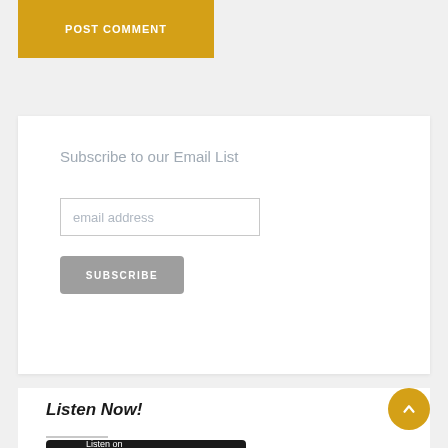POST COMMENT
Subscribe to our Email List
email address
SUBSCRIBE
Listen Now!
[Figure (screenshot): Listen on podcast badge (dark background with purple icon)]